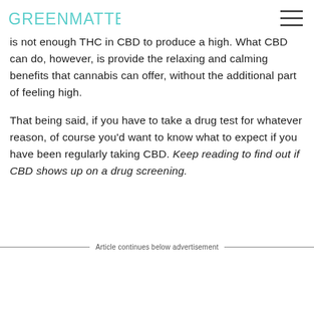GREENMATTERS
is not enough THC in CBD to produce a high. What CBD can do, however, is provide the relaxing and calming benefits that cannabis can offer, without the additional part of feeling high.
That being said, if you have to take a drug test for whatever reason, of course you'd want to know what to expect if you have been regularly taking CBD. Keep reading to find out if CBD shows up on a drug screening.
Article continues below advertisement